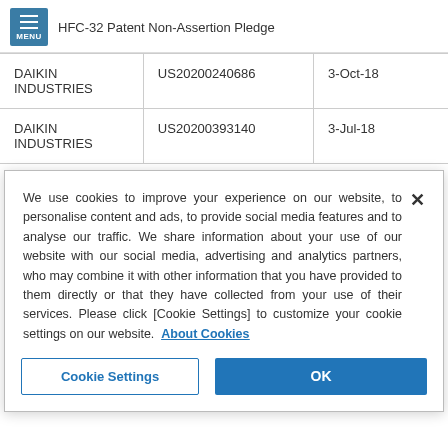HFC-32 Patent Non-Assertion Pledge
|  |  |  |
| --- | --- | --- |
| DAIKIN INDUSTRIES | US20200240686 | 3-Oct-18 |
| DAIKIN INDUSTRIES | US20200393140 | 3-Jul-18 |
We use cookies to improve your experience on our website, to personalise content and ads, to provide social media features and to analyse our traffic. We share information about your use of our website with our social media, advertising and analytics partners, who may combine it with other information that you have provided to them directly or that they have collected from your use of their services. Please click [Cookie Settings] to customize your cookie settings on our website. About Cookies